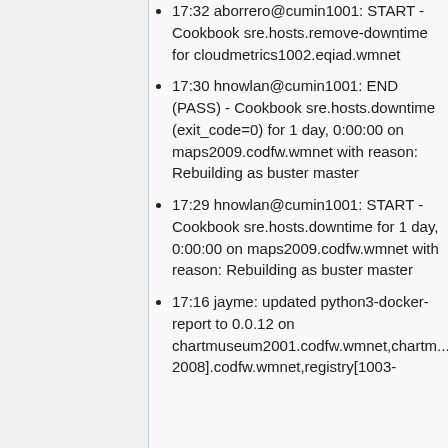17:32 aborrero@cumin1001: START - Cookbook sre.hosts.remove-downtime for cloudmetrics1002.eqiad.wmnet
17:30 hnowlan@cumin1001: END (PASS) - Cookbook sre.hosts.downtime (exit_code=0) for 1 day, 0:00:00 on maps2009.codfw.wmnet with reason: Rebuilding as buster master
17:29 hnowlan@cumin1001: START - Cookbook sre.hosts.downtime for 1 day, 0:00:00 on maps2009.codfw.wmnet with reason: Rebuilding as buster master
17:16 jayme: updated python3-docker-report to 0.0.12 on chartmuseum2001.codfw.wmnet,chartm... 2008].codfw.wmnet,registry[1003-